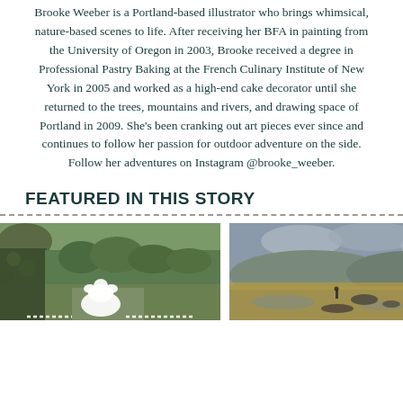Brooke Weeber is a Portland-based illustrator who brings whimsical, nature-based scenes to life. After receiving her BFA in painting from the University of Oregon in 2003, Brooke received a degree in Professional Pastry Baking at the French Culinary Institute of New York in 2005 and worked as a high-end cake decorator until she returned to the trees, mountains and rivers, and drawing space of Portland in 2009. She's been cranking out art pieces ever since and continues to follow her passion for outdoor adventure on the side. Follow her adventures on Instagram @brooke_weeber.
FEATURED IN THIS STORY
[Figure (photo): Outdoor nature photo showing mossy rock cliff with trees and hills in background, white bear/animal silhouette overlay with dashed lines at bottom]
[Figure (photo): Outdoor landscape photo showing open plains/wetlands with hills in background under overcast sky, small figure visible]